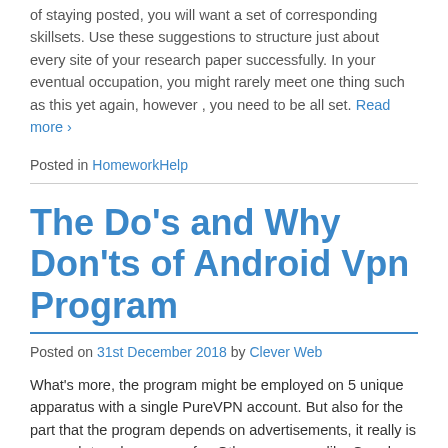of staying posted, you will want a set of corresponding skillsets. Use these suggestions to structure just about every site of your research paper successfully. In your eventual occupation, you might rarely meet one thing such as this yet again, however , you need to be all set. Read more ›
Posted in HomeworkHelp
The Do's and Why Don'ts of Android Vpn Program
Posted on 31st December 2018 by Clever Web
What's more, the program might be employed on 5 unique apparatus with a single PureVPN account. But also for the part that the program depends on advertisements, it really is a superb trendy program for. Other programs, like Google Authenticator, have no account production and are frequently